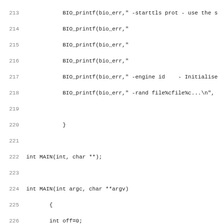Source code listing, lines 213-244, C programming language. Shows BIO_printf calls, function declarations for MAIN(int, char **), and variable declarations inside MAIN function body.